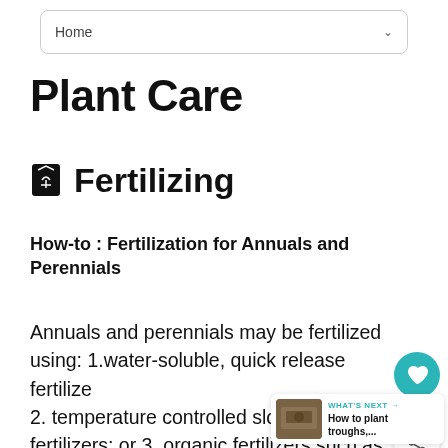Home
Plant Care
Fertilizing
How-to : Fertilization for Annuals and Perennials
Annuals and perennials may be fertilized using: 1.water-soluble, quick release fertilizers 2. temperature controlled slow-release fertilizers; or 3. organic fertilizers such as fish emulsion. Water soluble fertilizers are generally used every two weeks during the